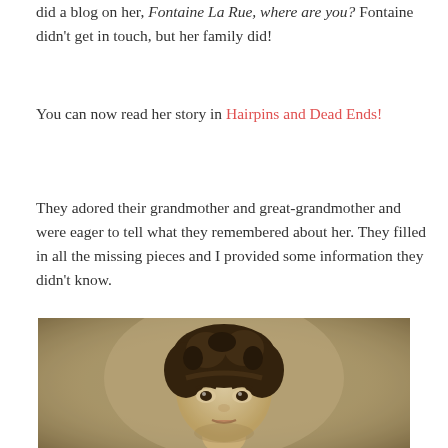did a blog on her, Fontaine La Rue, where are you? Fontaine didn't get in touch, but her family did!
You can now read her story in Hairpins and Dead Ends!
They adored their grandmother and great-grandmother and were eager to tell what they remembered about her. They filled in all the missing pieces and I provided some information they didn't know.
[Figure (photo): Sepia-toned vintage photograph of a young woman or child with curly dark hair, looking to the side with expressive eyes.]